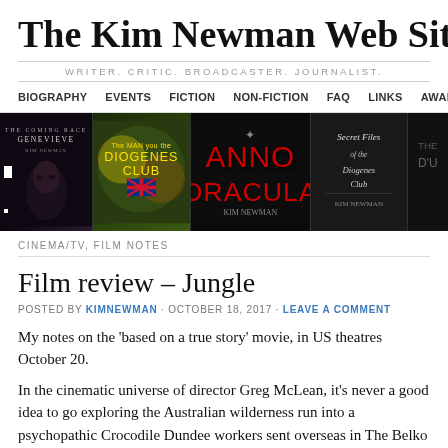The Kim Newman Web Site
WRITER. CRITIC. BROADCASTER. JOURNALIST.
BIOGRAPHY · EVENTS · FICTION · NON-FICTION · FAQ · LINKS · AWARDS
[Figure (illustration): Book cover banner showing Genevieve, The Diogenes Club, Anno Dracula, Secret Files of the Diogenes Club, and another partial cover]
CINEMA/TV, FILM NOTES
Film review – Jungle
POSTED BY KIMNEWMAN · OCTOBER 18, 2017 · LEAVE A COMMENT
My notes on the 'based on a true story' movie, in US theatres October 20.
In the cinematic universe of director Greg McLean, it's never a good idea to go exploring the Australian wilderness run into a psychopathic Crocodile Dundee workers sent overseas in The Belko Experiment are driven to massacre by a co